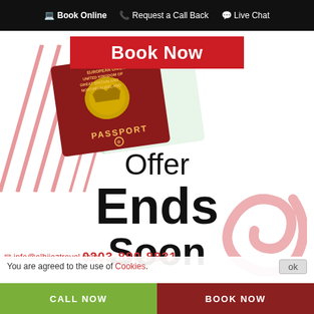Book Online  Request a Call Back  Live Chat
[Figure (illustration): Red UK passport lying at an angle on a white background with diagonal red/white lines behind it]
Book Now
Offer Ends Soon
0203-880-8831
You are agreed to the use of Cookies.
info@alhijaztravel.com
CALL NOW   BOOK NOW